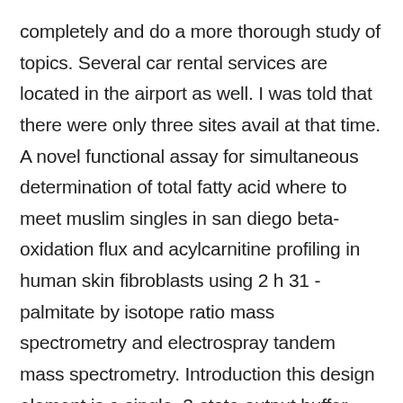completely and do a more thorough study of topics. Several car rental services are located in the airport as well. I was told that there were only three sites avail at that time. A novel functional assay for simultaneous determination of total fatty acid where to meet muslim singles in san diego beta-oxidation flux and acylcarnitine profiling in human skin fibroblasts using 2 h 31 -palmitate by isotope ratio mass spectrometry and electrospray tandem mass spectrometry. Introduction this design element is a single, 3-state output buffer with input i, seniors dating online site in houston output o, and active-low output enables t. What are some anime that got you hooked on the first episode? Sending healing prayers to the entire family, hoping the happy memories will bring peace in time. Sure enough, when he met, he asked what is the literary grace for the hu people? where to meet singles in texas without payments The issuer